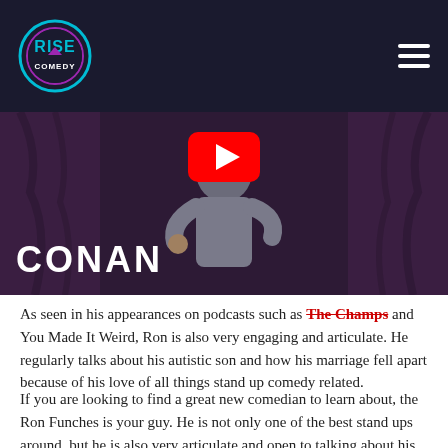Rise Comedy logo and navigation
[Figure (screenshot): Video thumbnail showing a comedian on stage with purple curtains backdrop and the word CONAN in white bold text at the bottom left, with a red YouTube play button overlay at the top center]
As seen in his appearances on podcasts such as The Champs and You Made It Weird, Ron is also very engaging and articulate.  He regularly talks about his autistic son and how his marriage fell apart because of his love of all things stand up comedy related.
If you are looking to find a great new comedian to learn about, the Ron Funches is your guy.  He is not only one of the best stand ups around, but he is also very articulate and open to talking about his life.  If you would like to learn more about stand up comedy, please contact us.